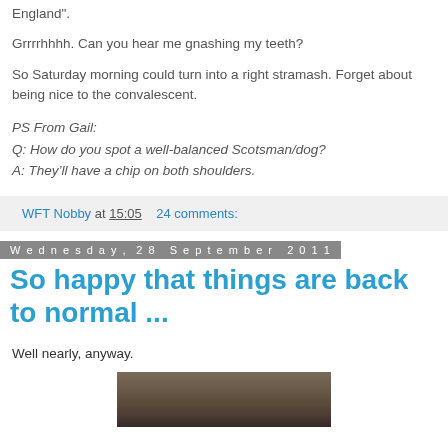England".
Grrrrhhhh. Can you hear me gnashing my teeth?
So Saturday morning could turn into a right stramash. Forget about being nice to the convalescent.
PS From Gail:
Q: How do you spot a well-balanced Scotsman/dog?
A: They'll have a chip on both shoulders.
WFT Nobby at 15:05   24 comments:
Wednesday, 28 September 2011
So happy that things are back to normal ...
Well nearly, anyway.
[Figure (photo): A partial photo visible at bottom of page, appears to show a person or animal, dark tones.]